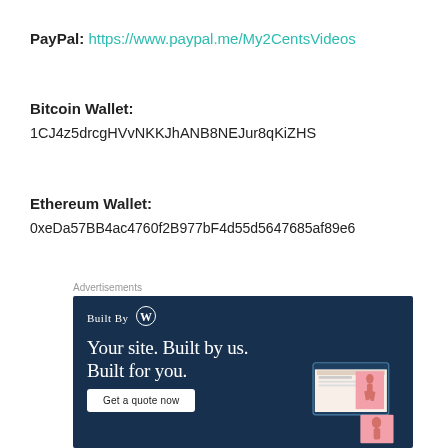PayPal: https://www.paypal.me/My2CentsVideos
Bitcoin Wallet:
1CJ4z5drcgHVvNKKJhANB8NEJur8qKiZHS
Ethereum Wallet:
0xeDa57BB4ac4760f2B977bF4d55d5647685af89e6
Advertisements
[Figure (illustration): WordPress 'Built By WordPress' advertisement banner with dark navy background. Text reads 'Built By [WordPress logo]' at top, then 'Your site. Built by us. Built for you.' with a 'Get a quote now' white button. Right side shows partial device/website mockups with a person in a pink dress.]